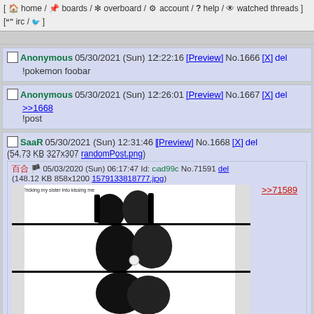[ home / boards / overboard / account / help / watched threads ] [ irc / ]
Anonymous 05/30/2021 (Sun) 12:22:16 [Preview] No.1666 [X] del
!pokemon foobar
Anonymous 05/30/2021 (Sun) 12:26:01 [Preview] No.1667 [X] del
>>1668
!post
SaaR 05/30/2021 (Sun) 12:31:46 [Preview] No.1668 [X] del
(54.73 KB 327x307 randomPost.png)
百合 05/03/2020 (Sun) 06:17:47 Id: cad99c No.71591 del
(148.12 KB 858x1200 1579133818777.jpg)
>>71589
[Figure (illustration): Manga page showing two girls, title panel reads '3. Tricking my sister into kissing me']